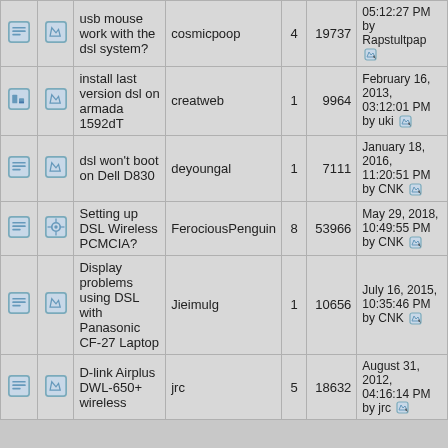|  |  | Topic | Author | Replies | Views | Last Post |
| --- | --- | --- | --- | --- | --- | --- |
| [icon] | [icon] | usb mouse work with the dsl system? | cosmicpoop | 4 | 19737 | 05:12:27 PM by Rapstultpap |
| [icon] | [icon] | install last version dsl on armada 1592dT | creatweb | 1 | 9964 | February 16, 2013, 03:12:01 PM by uki |
| [icon] | [icon] | dsl won't boot on Dell D830 | deyoungal | 1 | 7111 | January 18, 2016, 11:20:51 PM by CNK |
| [icon] | [icon] | Setting up DSL Wireless PCMCIA? | FerociousPenguin | 8 | 53966 | May 29, 2018, 10:49:55 PM by CNK |
| [icon] | [icon] | Display problems using DSL with Panasonic CF-27 Laptop | Jieimulg | 1 | 10656 | July 16, 2015, 10:35:46 PM by CNK |
| [icon] | [icon] | D-link Airplus DWL-650+ wireless | jrc | 5 | 18632 | August 31, 2012, 04:16:14 PM by jrc |